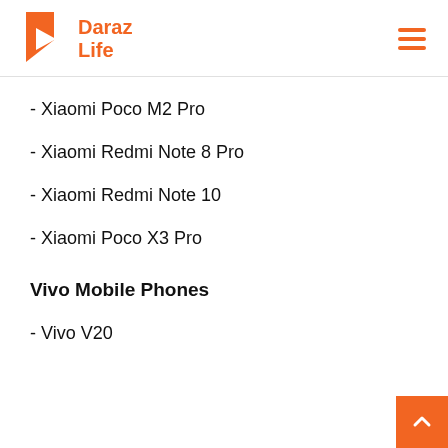Daraz Life
- Xiaomi Poco M2 Pro
- Xiaomi Redmi Note 8 Pro
- Xiaomi Redmi Note 10
- Xiaomi Poco X3 Pro
Vivo Mobile Phones
- Vivo V20